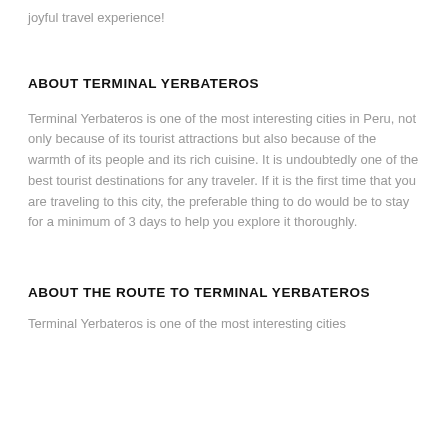joyful travel experience!
ABOUT TERMINAL YERBATEROS
Terminal Yerbateros is one of the most interesting cities in Peru, not only because of its tourist attractions but also because of the warmth of its people and its rich cuisine. It is undoubtedly one of the best tourist destinations for any traveler. If it is the first time that you are traveling to this city, the preferable thing to do would be to stay for a minimum of 3 days to help you explore it thoroughly.
ABOUT THE ROUTE TO TERMINAL YERBATEROS
[cut off text at bottom]